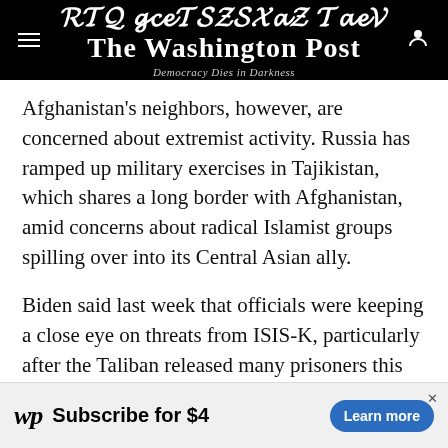The Washington Post — Democracy Dies in Darkness
Afghanistan's neighbors, however, are concerned about extremist activity. Russia has ramped up military exercises in Tajikistan, which shares a long border with Afghanistan, amid concerns about radical Islamist groups spilling over into its Central Asian ally.
Biden said last week that officials were keeping a close eye on threats from ISIS-K, particularly after the Taliban released many prisoners this month.
In recent days, U.S. intelligence officials anticipated an ISIS-K attack but had limited means to thwart an
[Figure (other): Washington Post subscription advertisement banner: WP logo, 'Subscribe for $4', 'Learn more' button]